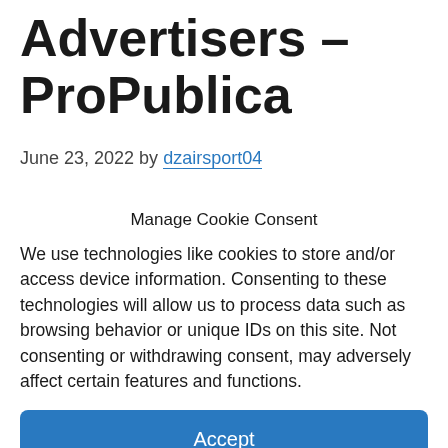Advertisers – ProPublica
June 23, 2022 by dzairsport04
Manage Cookie Consent
We use technologies like cookies to store and/or access device information. Consenting to these technologies will allow us to process data such as browsing behavior or unique IDs on this site. Not consenting or withdrawing consent, may adversely affect certain features and functions.
Accept
Cookie Policy